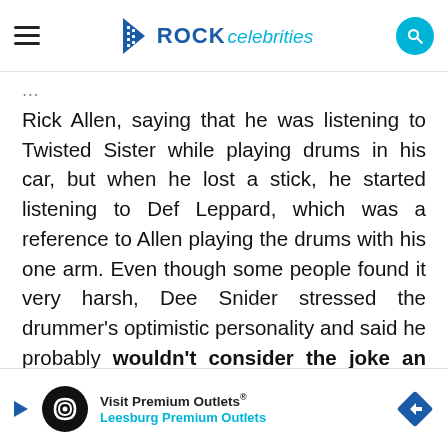ROCK celebrities
Rick Allen, saying that he was listening to Twisted Sister while playing drums in his car, but when he lost a stick, he started listening to Def Leppard, which was a reference to Allen playing the drums with his one arm. Even though some people found it very harsh, Dee Snider stressed the drummer's optimistic personality and said he probably wouldn't consider the joke an insult.
Visit Premium Outlets® Leesburg Premium Outlets